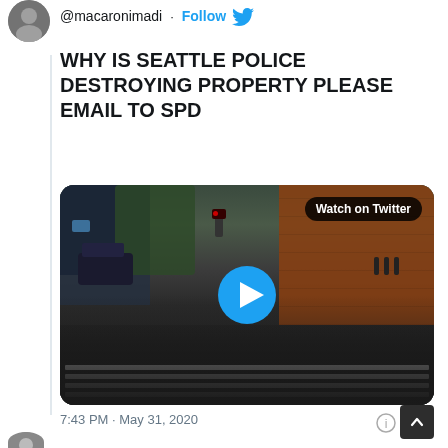[Figure (screenshot): Twitter/X screenshot showing a tweet by @macaronimadi with text 'WHY IS SEATTLE POLICE DESTROYING PROPERTY PLEASE EMAIL TO SPD' with an embedded video thumbnail of a rainy nighttime city street scene with a police car visible. The video shows a 'Watch on Twitter' badge and a play button. Timestamp reads 7:43 PM · May 31, 2020.]
@macaronimadi · Follow
WHY IS SEATTLE POLICE DESTROYING PROPERTY PLEASE EMAIL TO SPD
7:43 PM · May 31, 2020